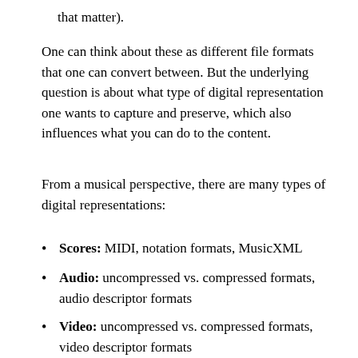that matter).
One can think about these as different file formats that one can convert between. But the underlying question is about what type of digital representation one wants to capture and preserve, which also influences what you can do to the content.
From a musical perspective, there are many types of digital representations:
Scores: MIDI, notation formats, MusicXML
Audio: uncompressed vs. compressed formats, audio descriptor formats
Video: uncompressed vs. compressed formats, video descriptor formats
Sensor data: motion capture, physiological sensors, brain imagery